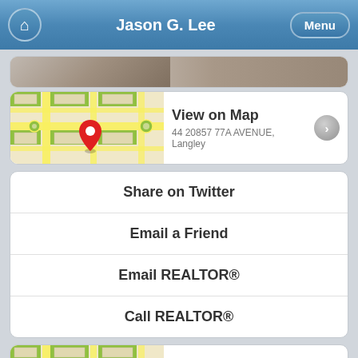Jason G. Lee
[Figure (screenshot): Partially visible property photo strip at top]
[Figure (map): Map thumbnail showing street map with red location pin]
View on Map
44 20857 77A AVENUE, Langley
Share on Twitter
Email a Friend
Email REALTOR®
Call REALTOR®
[Figure (map): Map thumbnail showing street map with red location pin for Map App]
Map App
View properties for sale near you on a map